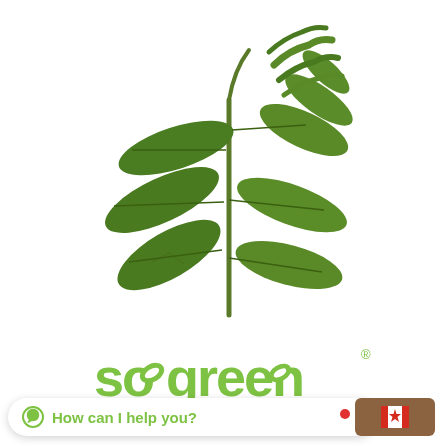[Figure (photo): A green plant sprig with multiple oval leaves arranged along a central stem, photographed on a white background. The top of the sprig has fine feathery leaflets.]
[Figure (logo): So Green brand logo in green lettering with leaf motif icons integrated into the letters, with a registered trademark symbol.]
How can I help you?
le Preloader